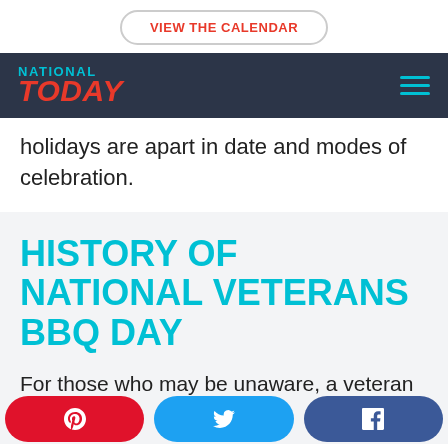VIEW THE CALENDAR
NATIONAL TODAY
holidays are apart in date and modes of celebration.
HISTORY OF NATIONAL VETERANS BBQ DAY
For those who may be unaware, a veteran is an ex-